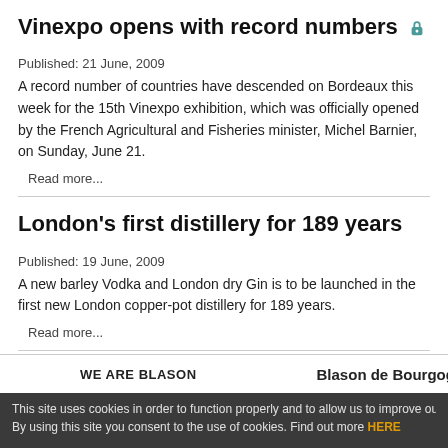Vinexpo opens with record numbers 🔒
Published:  21 June, 2009
A record number of countries have descended on Bordeaux this week for the 15th Vinexpo exhibition, which was officially opened by the French Agricultural and Fisheries minister, Michel Barnier, on Sunday, June 21.
Read more...
London's first distillery for 189 years
Published:  19 June, 2009
A new barley Vodka and London dry Gin is to be launched in the first new London copper-pot distillery for 189 years.
Read more...
WE ARE BLASON
Blason de Bourgogne
This site uses cookies in order to function properly and to allow us to improve our s By using this site you consent to the use of cookies. Find out more HERE